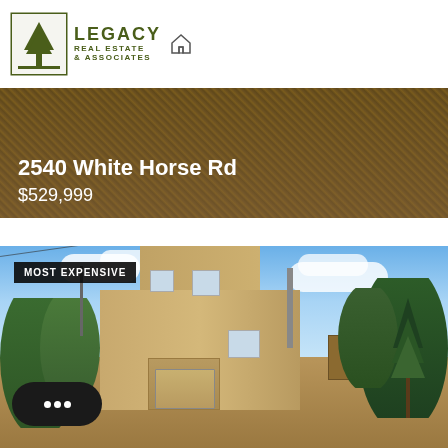[Figure (logo): Legacy Real Estate & Associates logo with tree icon]
2540 White Horse Rd
$529,999
[Figure (photo): Exterior photo of a two-story tan/beige house with garage, surrounded by trees and blue sky. Badge reads MOST EXPENSIVE.]
MOST EXPENSIVE